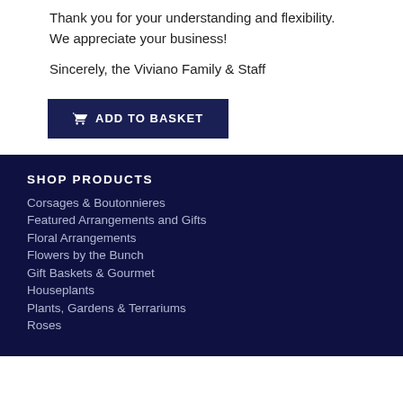Thank you for your understanding and flexibility. We appreciate your business!
Sincerely, the Viviano Family & Staff
ADD TO BASKET
SHOP PRODUCTS
Corsages & Boutonnieres
Featured Arrangements and Gifts
Floral Arrangements
Flowers by the Bunch
Gift Baskets & Gourmet
Houseplants
Plants, Gardens & Terrariums
Roses